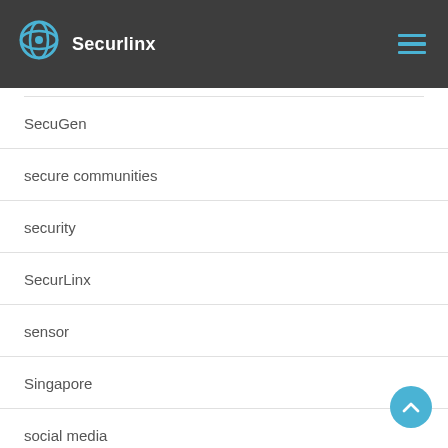Securlinx
SecuGen
secure communities
security
SecurLinx
sensor
Singapore
social media
Somalia